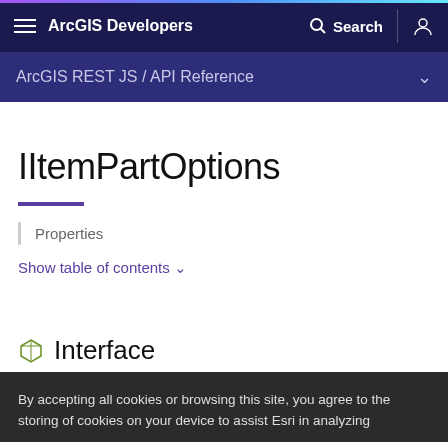ArcGIS Developers
ArcGIS REST JS / API Reference
IItemPartOptions
Properties
Show table of contents ∨
Interface
By accepting all cookies or browsing this site, you agree to the storing of cookies on your device to assist Esri in analyzing